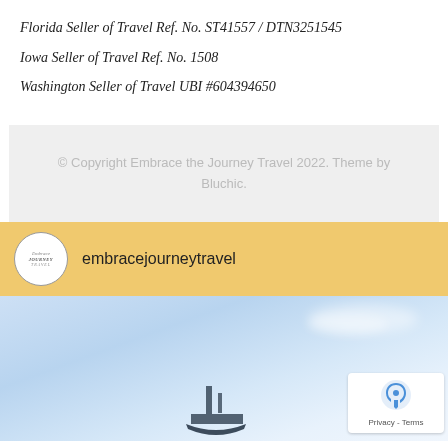Florida Seller of Travel Ref. No. ST41557 / DTN3251545
Iowa Seller of Travel Ref. No. 1508
Washington Seller of Travel UBI #604394650
© Copyright Embrace the Journey Travel 2022. Theme by Bluchic.
embracejourneytravel
[Figure (photo): Sky and clouds background with cruise ship silhouette at bottom, and a reCAPTCHA privacy badge in the lower right corner.]